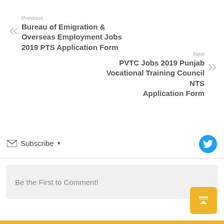Previous
Bureau of Emigration & Overseas Employment Jobs 2019 PTS Application Form
Next
PVTC Jobs 2019 Punjab Vocational Training Council NTS Application Form
Subscribe
Be the First to Comment!